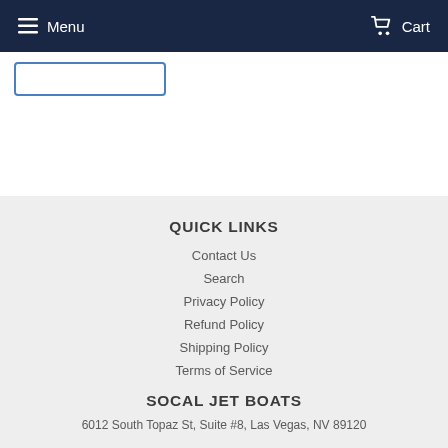Menu  Cart
QUICK LINKS
Contact Us
Search
Privacy Policy
Refund Policy
Shipping Policy
Terms of Service
SOCAL JET BOATS
6012 South Topaz St, Suite #8, Las Vegas, NV 89120